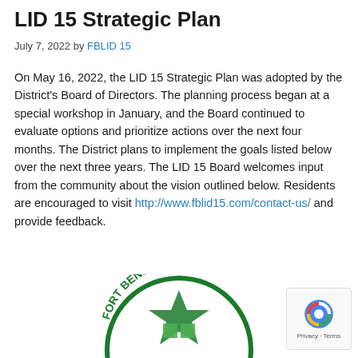LID 15 Strategic Plan
July 7, 2022 by FBLID 15
On May 16, 2022, the LID 15 Strategic Plan was adopted by the District's Board of Directors. The planning process began at a special workshop in January, and the Board continued to evaluate options and prioritize actions over the next four months. The District plans to implement the goals listed below over the next three years. The LID 15 Board welcomes input from the community about the vision outlined below. Residents are encouraged to visit http://www.fblid15.com/contact-us/ and provide feedback.
[Figure (logo): Fort Bend County circular logo with green text and emblem, partially visible at bottom of page]